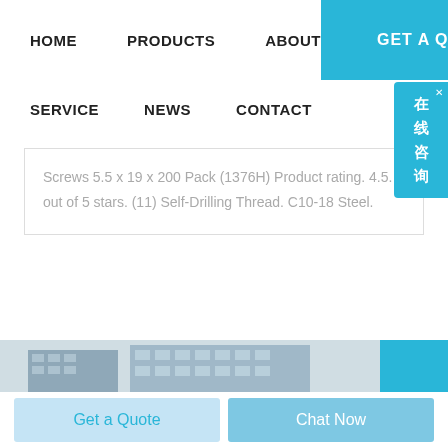HOME   PRODUCTS   ABOUT   GET A QUOTE   SERVICE   NEWS   CONTACT
Screws 5.5 x 19 x 200 Pack (1376H) Product rating. 4.5. out of 5 stars. (11) Self-Drilling Thread. C10-18 Steel.
[Figure (photo): Partial view of a building exterior/facade, blue and grey tones]
Get a Quote
Chat Now